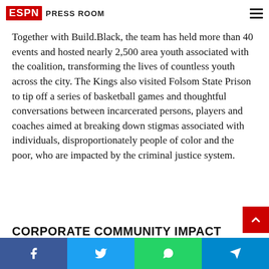ESPN Press Room
Together with Build.Black, the team has held more than 40 events and hosted nearly 2,500 area youth associated with the coalition, transforming the lives of countless youth across the city. The Kings also visited Folsom State Prison to tip off a series of basketball games and thoughtful conversations between incarcerated persons, players and coaches aimed at breaking down stigmas associated with individuals, disproportionately people of color and the poor, who are impacted by the criminal justice system.
CORPORATE COMMUNITY IMPACT AWARD